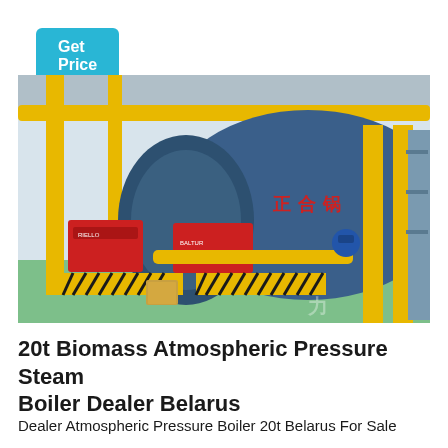Get Price
[Figure (photo): Industrial biomass atmospheric pressure steam boiler in a factory setting. Large cylindrical blue boiler with yellow piping, red burner units, yellow safety-striped barriers on a green floor.]
20t Biomass Atmospheric Pressure Steam Boiler Dealer Belarus
Dealer Atmospheric Pressure Boiler 20t Belarus For Sale